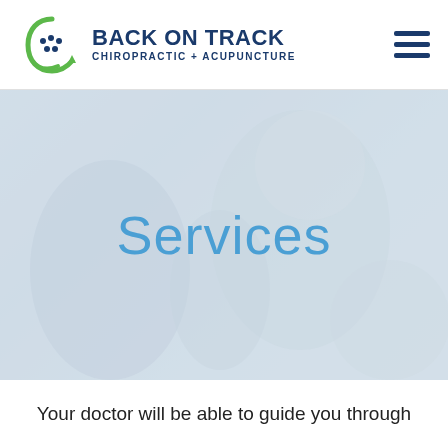[Figure (logo): Back on Track Chiropractic + Acupuncture logo with green circular spine figure and dark blue bold text]
[Figure (photo): Faded/washed out photo of a smiling child being held, overlaid with the word 'Services' in light blue text]
Services
Your doctor will be able to guide you through